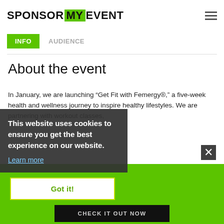[Figure (logo): SponsorMyEvent logo with MY in green box]
INFO   AUDIENCE
About the event
In January, we are launching “Get Fit with Femergy®,” a five-week health and wellness journey to inspire healthy lifestyles. We are partnering with workout classes,
This website uses cookies to ensure you get the best experience on our website.
Learn more
Got it!
COURSE : How to find sponsors and close the deal
CHECK IT OUT NOW